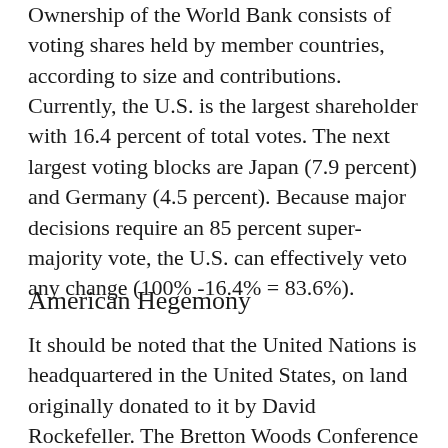Ownership of the World Bank consists of voting shares held by member countries, according to size and contributions. Currently, the U.S. is the largest shareholder with 16.4 percent of total votes. The next largest voting blocks are Japan (7.9 percent) and Germany (4.5 percent). Because major decisions require an 85 percent super-majority vote, the U.S. can effectively veto any change (100% -16.4% = 83.6%).
American Hegemony
It should be noted that the United Nations is headquartered in the United States, on land originally donated to it by David Rockefeller. The Bretton Woods Conference was held in New